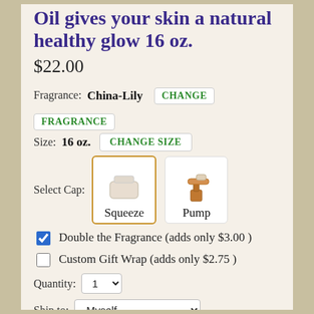Oil gives your skin a natural healthy glow 16 oz.
$22.00
Fragrance: China-Lily  CHANGE FRAGRANCE
Size: 16 oz.  CHANGE SIZE
Select Cap: Squeeze  Pump
Double the Fragrance (adds only $3.00 )
Custom Gift Wrap (adds only $2.75 )
Quantity: 1
Ship to: Myself